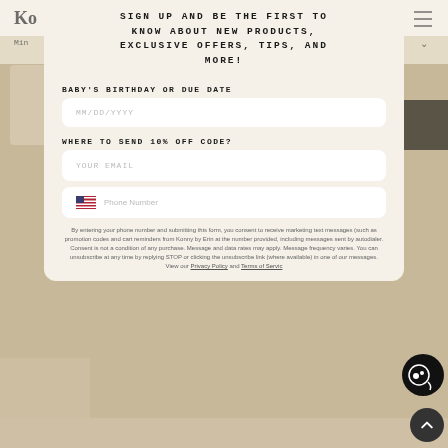[Figure (screenshot): E-commerce website popup/modal overlay for Konny by Erin, showing a discount signup form with fields for baby birthday/due date, email, and phone number, with SMS marketing consent disclaimer.]
SIGN UP AND BE THE FIRST TO KNOW ABOUT NEW PRODUCTS, EXCLUSIVE OFFERS, TIPS, AND MORE!
BABY'S BIRTHDAY OR DUE DATE
MM/DD/YYYY
WHERE TO SEND 10% OFF CODE?
YOUR EMAIL
Phone Number
By entering your phone number and submitting this form, you consent to receive marketing text messages (such as promotion codes and cart reminders from Konny by Erin at the number provided, including messages sent by autodialer. Consent is not a condition of any purchase. Message and data rates may apply. Message frequency varies. You can unsubscribe at any time by replying STOP or clicking the unsubscribe link (where available) in one of our messages. View our Privacy Policy and Terms of Servic